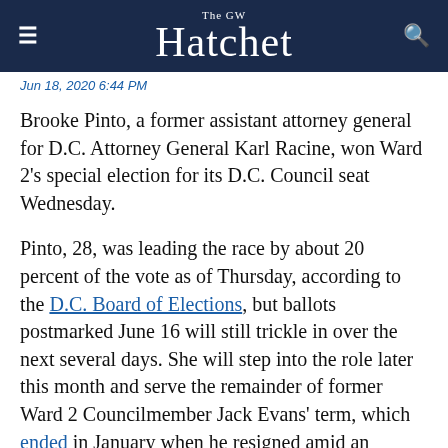The GW Hatchet
Jun 18, 2020 6:44 PM
Brooke Pinto, a former assistant attorney general for D.C. Attorney General Karl Racine, won Ward 2's special election for its D.C. Council seat Wednesday.
Pinto, 28, was leading the race by about 20 percent of the vote as of Thursday, according to the D.C. Board of Elections, but ballots postmarked June 16 will still trickle in over the next several days. She will step into the role later this month and serve the remainder of former Ward 2 Councilmember Jack Evans' term, which ended in January when he resigned amid an ongoing ethics scandal, for the rest of the